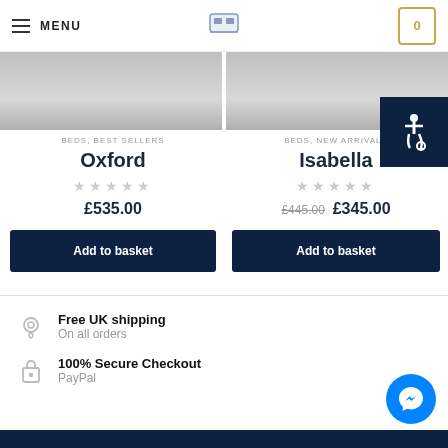MENU | Logo | Cart (0)
[Figure (screenshot): Two product image thumbnails side by side — left for Oxford bed, right for Isabella bed]
BEDS, BEST SELLERS
Oxford
★★★★★ (empty stars rating)
£535.00
BEDS, NEW ARRIVALS
Isabella
★★★★★ (empty stars rating)
£445.00  £345.00
Add to basket
Add to basket
Free UK shipping
On all orders
100% Secure Checkout
PayPal